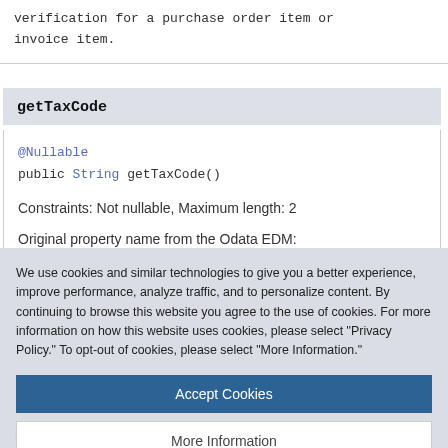verification for a purchase order item or invoice item.
getTaxCode
@Nullable
public String getTaxCode()

Constraints: Not nullable, Maximum length: 2

Original property name from the Odata EDM:
We use cookies and similar technologies to give you a better experience, improve performance, analyze traffic, and to personalize content. By continuing to browse this website you agree to the use of cookies. For more information on how this website uses cookies, please select "Privacy Policy." To opt-out of cookies, please select "More Information."
Accept Cookies
More Information
Privacy Policy | Powered by: TrustArc
until no more open items which use this tax code